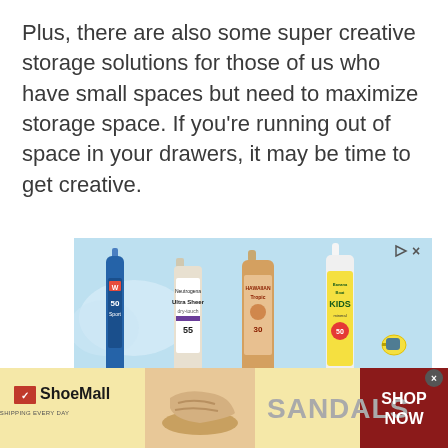Plus, there are also some super creative storage solutions for those of us who have small spaces but need to maximize storage space. If you're running out of space in your drawers, it may be time to get creative.
[Figure (photo): Advertisement banner showing sunscreen products: Walgreens Sport SPF 50 spray, Neutrogena Ultra Sheer Dry-Touch SPF 55, Hawaiian Tropic Sheer Touch SPF 30, and Banana Boat Kids Mineral SPF 50. Light blue background with cloud shapes and a sunglasses icon. Small play and close buttons in top right corner.]
[Figure (photo): ShoeMall advertisement banner with yellow/tan background. Left section shows ShoeMall logo with red icon and tagline 'FREE SHIPPING EVERY DAY'. Middle section shows a tan wedge sandal shoe. Center text reads 'SANDALS' in large gray letters. Right section is dark red with white text 'SHOP NOW'. Small close X button in top right corner.]